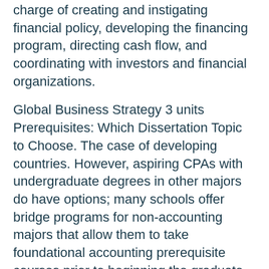charge of creating and instigating financial policy, developing the financing program, directing cash flow, and coordinating with investors and financial organizations.
Global Business Strategy 3 units Prerequisites: Which Dissertation Topic to Choose. The case of developing countries. However, aspiring CPAs with undergraduate degrees in other majors do have options; many schools offer bridge programs for non-accounting majors that allow them to take foundational accounting prerequisite courses prior to beginning the graduate level curriculum.
Finance dissertation topics in risk management could include: Electrical Engineering Image Source Average starting salary: Investigates marketing imperatives, principles, and philosophy in a dynamic global environment.
A strategy curriculum often includes courses on executive leadership, global management strategy, managing...